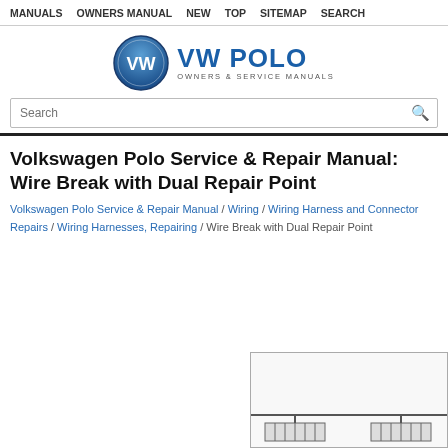MANUALS  OWNERS MANUAL  NEW  TOP  SITEMAP  SEARCH
[Figure (logo): VW Polo Owners & Service Manuals logo with Volkswagen circular emblem and blue text]
Volkswagen Polo Service & Repair Manual: Wire Break with Dual Repair Point
Volkswagen Polo Service & Repair Manual / Wiring / Wiring Harness and Connector Repairs / Wiring Harnesses, Repairing / Wire Break with Dual Repair Point
[Figure (schematic): Partial wiring harness repair diagram showing connector block at the bottom right of the page]